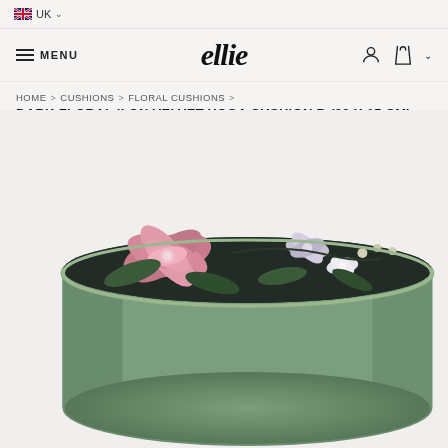UK
[Figure (logo): ellie brand logo in italic serif font]
HOME > CUSHIONS > FLORAL CUSHIONS > DARK FLORAL II ON VELVET YOGA CUSHION B (30 X 15 CM)
[Figure (photo): A round cylindrical yoga cushion with green velvet sides and dark floral print top featuring pink peonies and green leaves on a dark background. A floral fabric handle is visible at the bottom front.]